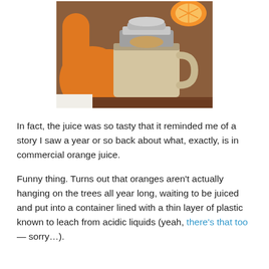[Figure (photo): A photo showing an orange juicer with an orange handle and base, a ceramic mug being juiced, with a halved orange visible in the background on what appears to be a wooden counter.]
In fact, the juice was so tasty that it reminded me of a story I saw a year or so back about what, exactly, is in commercial orange juice.
Funny thing. Turns out that oranges aren't actually hanging on the trees all year long, waiting to be juiced and put into a container lined with a thin layer of plastic known to leach from acidic liquids (yeah, there's that too — sorry…).